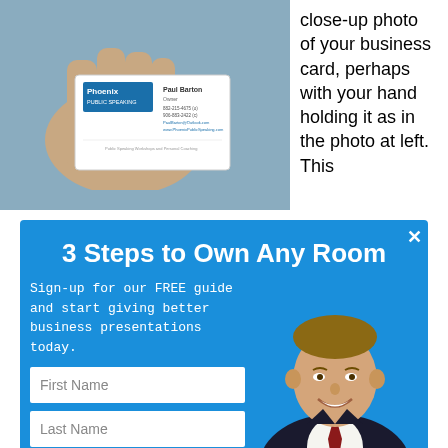[Figure (photo): Hand holding a Phoenix Public Speaking business card for Paul Barton, Owner, with phone and website details.]
close-up photo of your business card, perhaps with your hand holding it as in the photo at left. This
3 Steps to Own Any Room
Sign-up for our FREE guide and start giving better business presentations today.
[Figure (photo): Professional headshot of a middle-aged man in a dark suit and dark red tie, smiling.]
First Name
Last Name
Email
Download your free guide now!